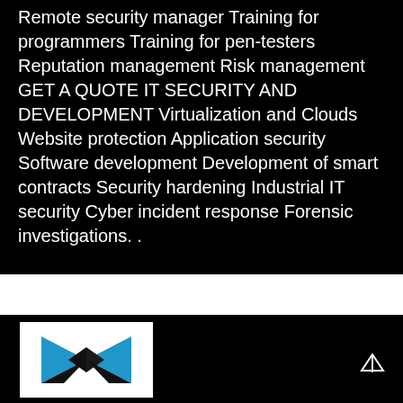Remote security manager Training for programmers Training for pen-testers Reputation management Risk management GET A QUOTE IT SECURITY AND DEVELOPMENT Virtualization and Clouds Website protection Application security Software development Development of smart contracts Security hardening Industrial IT security Cyber incident response Forensic investigations. .
[Figure (logo): Company logo: white square background with a blue and black stylized M or bowtie/arrow shape made of geometric triangles]